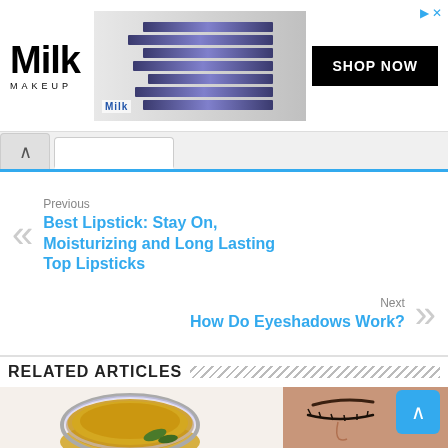[Figure (screenshot): Milk Makeup advertisement banner with logo, pencils/makeup products, and SHOP NOW button]
[Figure (screenshot): Browser tab bar with up arrow and tab stub, blue underline]
Previous
Best Lipstick: Stay On, Moisturizing and Long Lasting Top Lipsticks
Next
How Do Eyeshadows Work?
RELATED ARTICLES
[Figure (photo): Photo showing a bowl of olive oil and a woman's face with closed eyes]